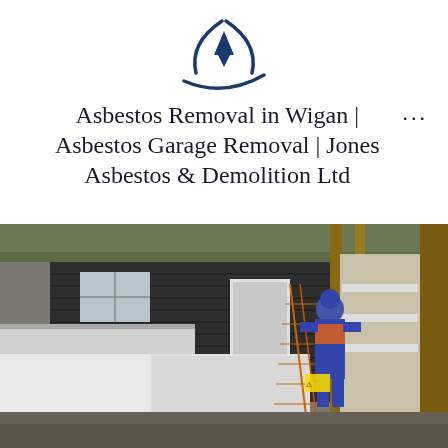[Figure (logo): Jones Asbestos & Demolition Ltd logo — dark navy blue circular arc with a downward-pointing triangle/arrow in the centre and a curved swoosh beneath]
Asbestos Removal in Wigan | Asbestos Garage Removal | Jones Asbestos & Demolition Ltd
[Figure (photo): Outdoor workplace scene showing a white van on the left, a worker in blue coveralls and orange hi-vis vest handling materials near orange safety netting and wooden scaffolding poles, with a dark-boarded building with white-framed windows in the background]